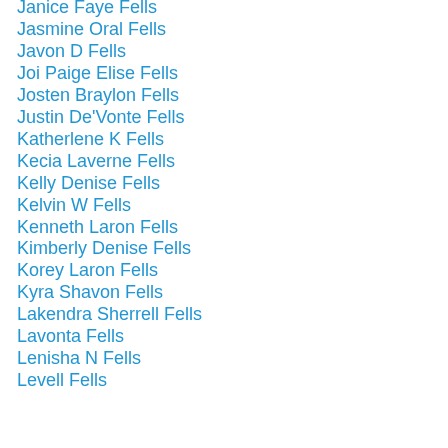Janice Faye Fells
Jasmine Oral Fells
Javon D Fells
Joi Paige Elise Fells
Josten Braylon Fells
Justin De'Vonte Fells
Katherlene K Fells
Kecia Laverne Fells
Kelly Denise Fells
Kelvin W Fells
Kenneth Laron Fells
Kimberly Denise Fells
Korey Laron Fells
Kyra Shavon Fells
Lakendra Sherrell Fells
Lavonta Fells
Lenisha N Fells
Levell Fells